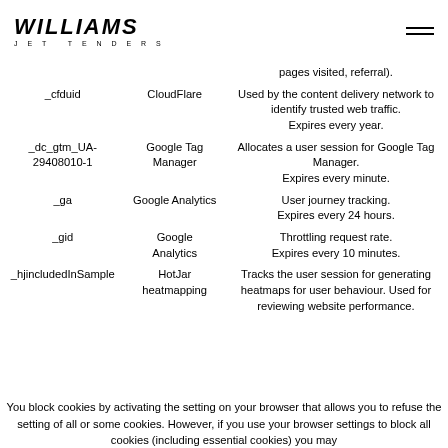WILLIAMS JET TENDERS
| Cookie Name | Provider | Description |
| --- | --- | --- |
|  |  | pages visited, referral). |
| _cfduid | CloudFlare | Used by the content delivery network to identify trusted web traffic. Expires every year. |
| _dc_gtm_UA-29408010-1 | Google Tag Manager | Allocates a user session for Google Tag Manager. Expires every minute. |
| _ga | Google Analytics | User journey tracking. Expires every 24 hours. |
| _gid | Google Analytics | Throttling request rate. Expires every 10 minutes. |
| _hjincludedInSample | HotJar heatmapping | Tracks the user session for generating heatmaps for user behaviour. Used for reviewing website performance. |
You block cookies by activating the setting on your browser that allows you to refuse the setting of all or some cookies. However, if you use your browser settings to block all cookies (including essential cookies) you may